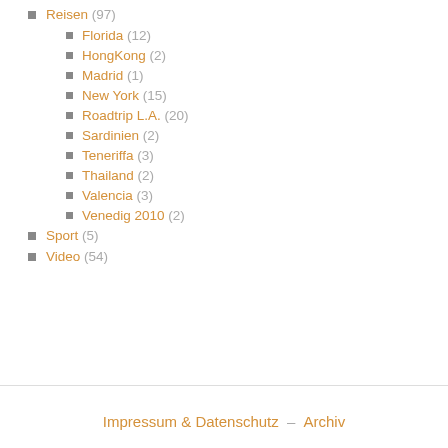Reisen (97)
Florida (12)
HongKong (2)
Madrid (1)
New York (15)
Roadtrip L.A. (20)
Sardinien (2)
Teneriffa (3)
Thailand (2)
Valencia (3)
Venedig 2010 (2)
Sport (5)
Video (54)
Impressum & Datenschutz – Archiv